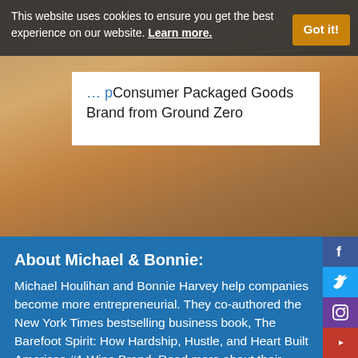This website uses cookies to ensure you get the best experience on our website. Learn more.
Got it!
Consumer Packaged Goods Brand from Ground Zero
About Michael & Bonnie:
Michael Houlihan and Bonnie Harvey help companies become more entrepreneurial. They co-authored the New York Times bestselling business book, The Barefoot Spirit: How Hardship, Hustle, and Heart Built Americas #1 Wine Brand. Read more about their humble beginnings to their creation of an international best-selling wine label HERE.